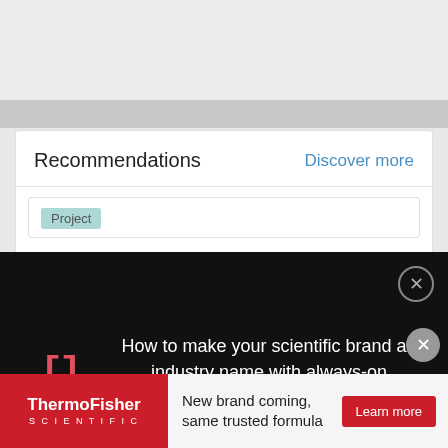Recommendations
Discover more
Project
[Figure (screenshot): Black popup advertisement overlay with red bracket logo icon and white text reading 'How to make your scientific brand an industry name with always-on marketing', with a close (X) button in the top right corner]
estoy participando en www.reide.org.Saludos cordiales,
View project
Advertisement
[Figure (infographic): ThermoFisher Scientific banner advertisement with red logo box on left and text 'New brand coming, same trusted formula' with a red 'Learn more' button on the right]